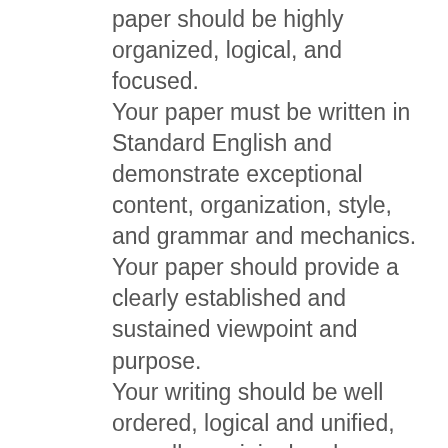paper should be highly organized, logical, and focused.
Your paper must be written in Standard English and demonstrate exceptional content, organization, style, and grammar and mechanics.
Your paper should provide a clearly established and sustained viewpoint and purpose.
Your writing should be well ordered, logical and unified, as well as original and insightful.
A separate page at the end of your research paper should contain a list of references, in APA format. Use your textbook, the Library, and the internet for research.
Be sure to cite both in-text and reference list citations were appropriate and reference all sources. Your sources and content should